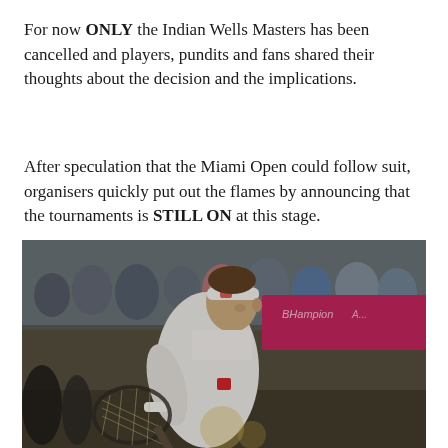For now ONLY the Indian Wells Masters has been cancelled and players, pundits and fans shared their thoughts about the decision and the implications.
After speculation that the Miami Open could follow suit, organisers quickly put out the flames by announcing that the tournaments is STILL ON at this stage.
[Figure (photo): A tennis player wearing a white polo shirt, white headband, and white wristband holding a tennis racket on a court with a blurred crowd and pink/magenta sponsor banner in the background.]